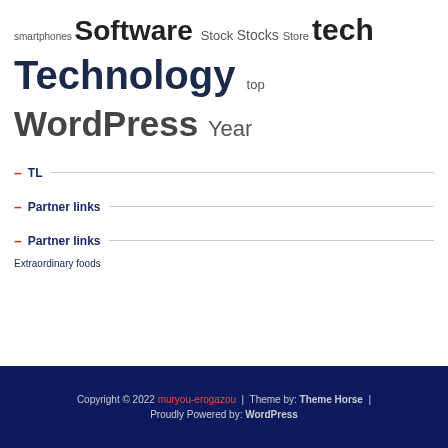smartphones Software Stock Stocks Store tech Technology top WordPress Year
– TL
– Partner links
– Partner links
Extraordinary foods
Copyright © 2022 muryou-erogazou | Theme by: Theme Horse | Proudly Powered by: WordPress